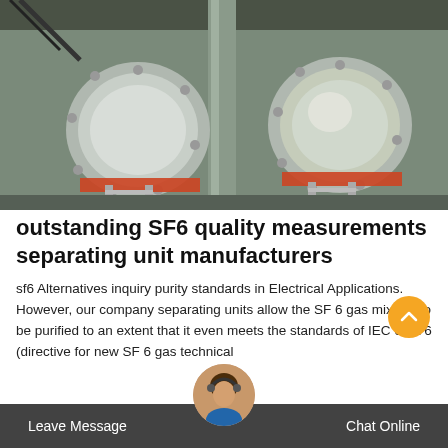[Figure (photo): Industrial electrical equipment photo showing large circular flanged components (switchgear or transformer units) with orange/red bands, metal piping, ladders, and structural steelwork in a grey industrial setting.]
outstanding SF6 quality measurements separating unit manufacturers
sf6 Alternatives inquiry purity standards in Electrical Applications. However, our company separating units allow the SF 6 gas mixture to be purified to an extent that it even meets the standards of IEC 60376 (directive for new SF 6 gas technical